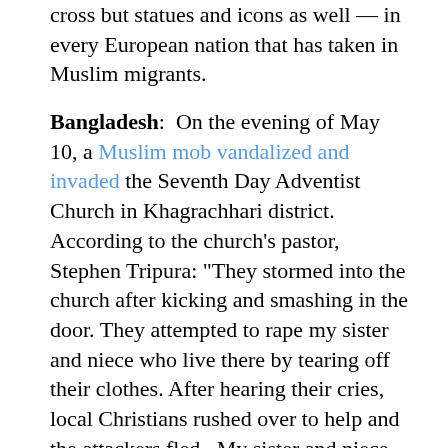cross but statues and icons as well — in every European nation that has taken in Muslim migrants.
Bangladesh: On the evening of May 10, a Muslim mob vandalized and invaded the Seventh Day Adventist Church in Khagrachhari district. According to the church's pastor, Stephen Tripura: “They stormed into the church after kicking and smashing in the door. They attempted to rape my sister and niece who live there by tearing off their clothes. After hearing their cries, local Christians rushed over to help and the attackers fled. My sister and niece moved here to get an education but now they are traumatized…. We didn’t file a case for fear of angering local Muslims further and inviting more